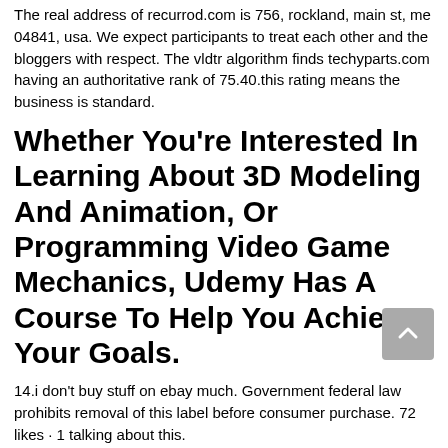The real address of recurrod.com is 756, rockland, main st, me 04841, usa. We expect participants to treat each other and the bloggers with respect. The vldtr algorithm finds techyparts.com having an authoritative rank of 75.40.this rating means the business is standard.
Whether You're Interested In Learning About 3D Modeling And Animation, Or Programming Video Game Mechanics, Udemy Has A Course To Help You Achieve Your Goals.
14.i don't buy stuff on ebay much. Government federal law prohibits removal of this label before consumer purchase. 72 likes · 1 talking about this.
After Referring To The Evaluation Online, We Found No Reviews Or Testimonials